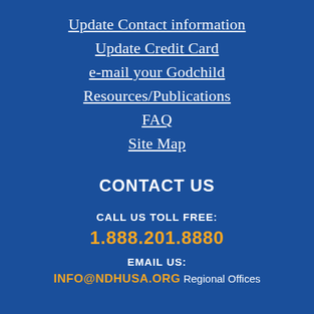Update Contact information
Update Credit Card
e-mail your Godchild
Resources/Publications
FAQ
Site Map
CONTACT US
CALL US TOLL FREE:
1.888.201.8880
EMAIL US:
INFO@NDHUSA.ORG Regional Offices